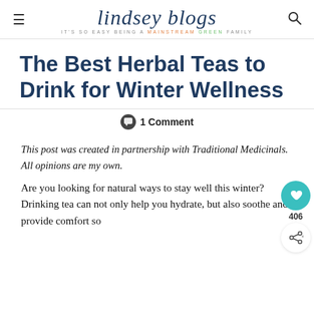lindsey blogs — IT'S SO EASY BEING A MAINSTREAM GREEN FAMILY
The Best Herbal Teas to Drink for Winter Wellness
1 Comment
This post was created in partnership with Traditional Medicinals. All opinions are my own.
Are you looking for natural ways to stay well this winter? Drinking tea can not only help you hydrate, but also soothe and provide comfort so